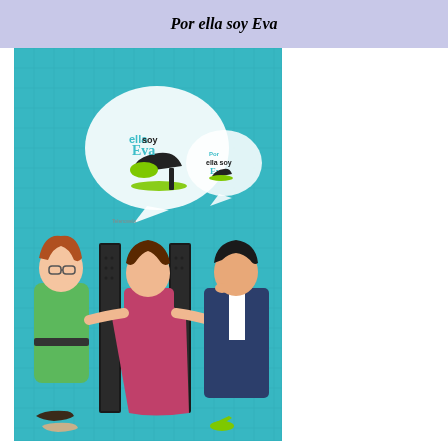Por ella soy Eva
[Figure (illustration): Promotional poster for the telenovela 'Por ella soy Eva' featuring three people: a woman in a green outfit on the left, a woman in a magenta/pink dress in the center in front of a black folding screen, and a man in a dark suit on the right. Above them are two speech bubble logos with a high-heel shoe graphic and the text 'Por ella soy Eva'. The background is teal/turquoise. Shoes are scattered on the floor.]